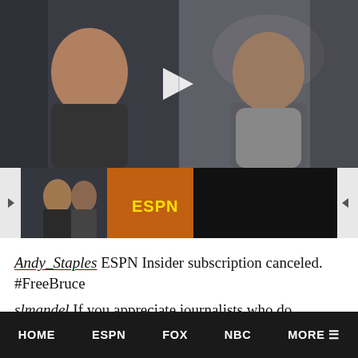[Figure (photo): Main video thumbnail showing two men, one on the left in a dark top and one on the right in a grey hoodie, with a play button in the center]
[Figure (photo): Row of four smaller video thumbnails in a carousel with left and right navigation arrows]
Andy_Staples ESPN Insider subscription canceled. #FreeBruce
slmandel If you appreciate journalists who do their job professionally and with respect ...
HOME   ESPN   FOX   NBC   MORE